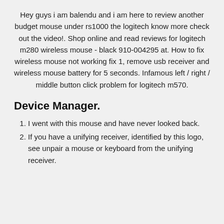Hey guys i am balendu and i am here to review another budget mouse under rs1000 the logitech know more check out the video!. Shop online and read reviews for logitech m280 wireless mouse - black 910-004295 at. How to fix wireless mouse not working fix 1, remove usb receiver and wireless mouse battery for 5 seconds. Infamous left / right / middle button click problem for logitech m570.
Device Manager.
I went with this mouse and have never looked back.
If you have a unifying receiver, identified by this logo, see unpair a mouse or keyboard from the unifying receiver.